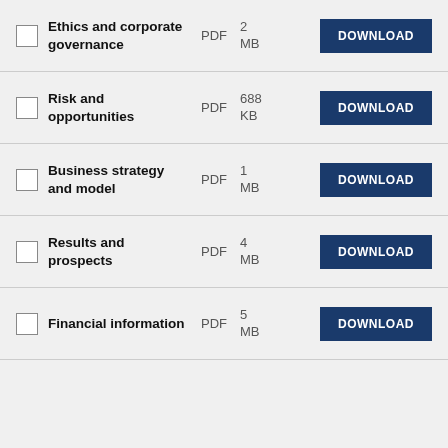Ethics and corporate governance | PDF | 2 MB | DOWNLOAD
Risk and opportunities | PDF | 688 KB | DOWNLOAD
Business strategy and model | PDF | 1 MB | DOWNLOAD
Results and prospects | PDF | 4 MB | DOWNLOAD
Financial information | PDF | 5 MB | DOWNLOAD